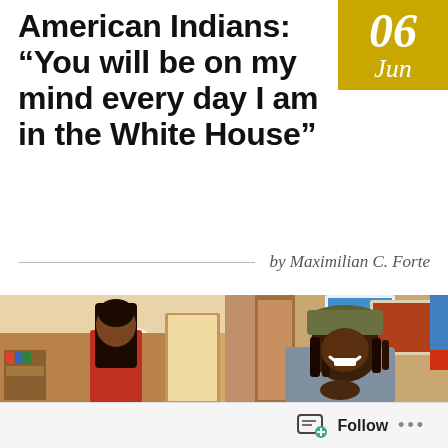American Indians: “You will be on my mind every day I am in the White House”
by Maximilian C. Forte
[Figure (photo): Interior room scene with two people: on the left, a person with long dark hair wearing a red shirt standing with their back to the camera; on the right, a person with dreadlocks wearing a hat and laughing, with colorful posters on the wall behind them.]
Follow ...